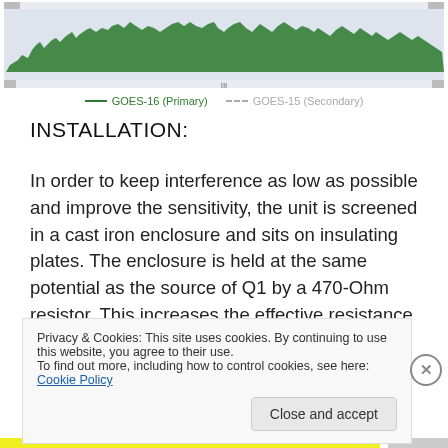[Figure (continuous-plot): A green area/line chart showing signal data over time (GOES-16 Primary in dark green, GOES-16 Secondary in dashed gray). The chart has a light blue-gray background with a time axis.]
— GOES-16 (Primary)   — GOES-15 (Secondary)
INSTALLATION:
In order to keep interference as low as possible and improve the sensitivity, the unit is screened in a cast iron enclosure and sits on insulating plates. The enclosure is held at the same potential as the source of Q1 by a 470-Ohm resistor. This increases the effective resistance of the co-ax down lead and reduces local proximity effects.
Privacy & Cookies: This site uses cookies. By continuing to use this website, you agree to their use.
To find out more, including how to control cookies, see here: Cookie Policy
Close and accept